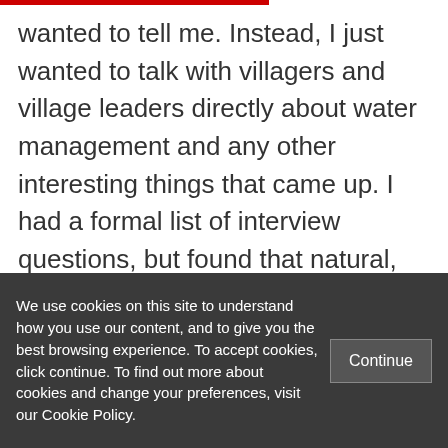wanted to tell me. Instead, I just wanted to talk with villagers and village leaders directly about water management and any other interesting things that came up. I had a formal list of interview questions, but found that natural, flowing conversations were much more informative. Since I did not live in the village (and neither did my city research assistants), I sometimes did not know whom to ask about issues that turned out to be
We use cookies on this site to understand how you use our content, and to give you the best browsing experience. To accept cookies, click continue. To find out more about cookies and change your preferences, visit our Cookie Policy.